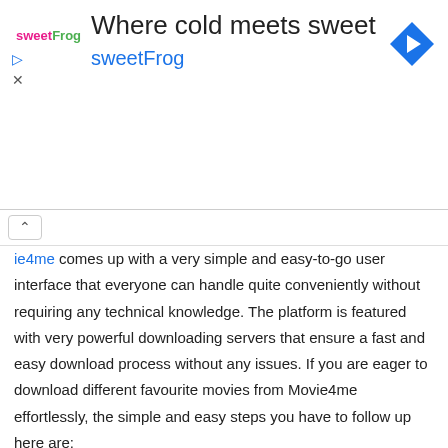[Figure (infographic): Advertisement banner for sweetFrog: 'Where cold meets sweet' with sweetFrog logo and navigation arrow icon]
ie4me comes up with a very simple and easy-to-go user interface that everyone can handle quite conveniently without requiring any technical knowledge. The platform is featured with very powerful downloading servers that ensure a fast and easy download process without any issues. If you are eager to download different favourite movies from Movie4me effortlessly, the simple and easy steps you have to follow up here are:
Launch your Google web browser and then search for the Movie4me option here.
Tap to launch the application on your device.
Once you will do it, you will land on the homepage of